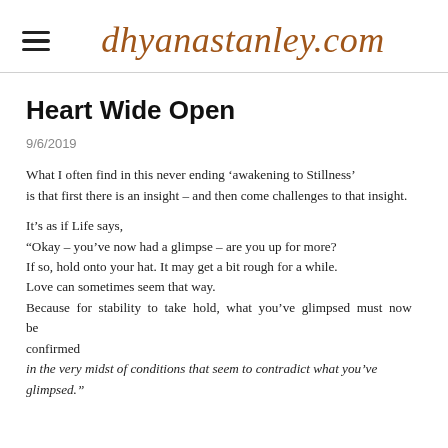dhyanastanley.com
Heart Wide Open
9/6/2019
What I often find in this never ending ‘awakening to Stillness’ is that first there is an insight – and then come challenges to that insight.
It’s as if Life says,
“Okay – you’ve now had a glimpse – are you up for more?
If so, hold onto your hat. It may get a bit rough for a while.
Love can sometimes seem that way.
Because for stability to take hold, what you’ve glimpsed must now be confirmed
in the very midst of conditions that seem to contradict what you’ve glimpsed.”